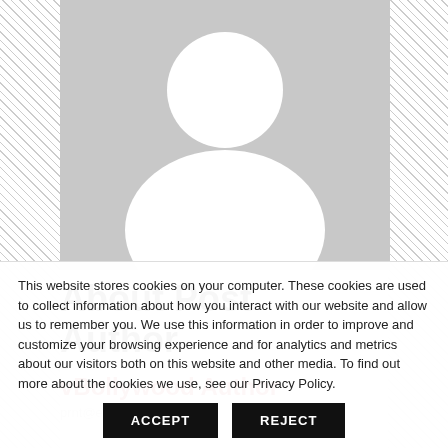[Figure (illustration): Default avatar/silhouette placeholder image — grey background with white person silhouette (head and shoulders)]
About Post Author
vBollywood Author
This website stores cookies on your computer. These cookies are used to collect information about how you interact with our website and allow us to remember you. We use this information in order to improve and customize your browsing experience and for analytics and metrics about our visitors both on this website and other media. To find out more about the cookies we use, see our Privacy Policy.
ACCEPT
REJECT